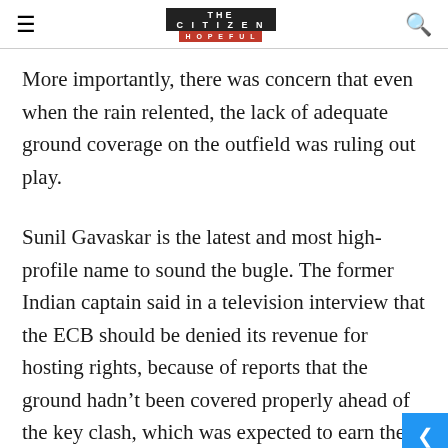THE CITIZEN IS HOPEFUL
More importantly, there was concern that even when the rain relented, the lack of adequate ground coverage on the outfield was ruling out play.
Sunil Gavaskar is the latest and most high-profile name to sound the bugle. The former Indian captain said in a television interview that the ECB should be denied its revenue for hosting rights, because of reports that the ground hadn't been covered properly ahead of the key clash, which was expected to earn the ICC as much revenue, if not more, than the rest of the tournament put together.